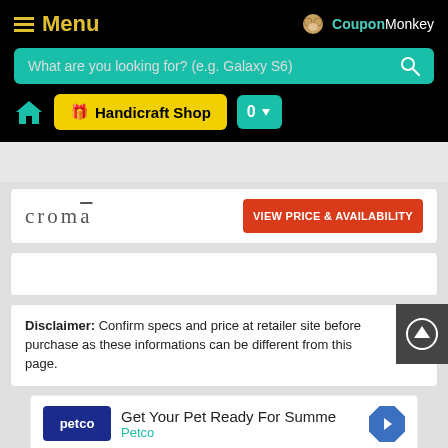Menu | CouponMonkey
What are you looking for? (e.g. Galaxy S6)
🏠 Handicraft Shop  0
croma  VIEW PRICE & AVAILABILITY
Disclaimer: Confirm specs and price at retailer site before purchase as these informations can be different from this page.
[Figure (screenshot): Petco advertisement: Get Your Pet Ready For Summe - Petco, with navigation arrow icon]
Get Your Pet Ready For Summe
Petco